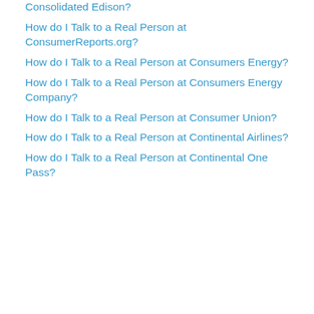Consolidated Edison?
How do I Talk to a Real Person at ConsumerReports.org?
How do I Talk to a Real Person at Consumers Energy?
How do I Talk to a Real Person at Consumers Energy Company?
How do I Talk to a Real Person at Consumer Union?
How do I Talk to a Real Person at Continental Airlines?
How do I Talk to a Real Person at Continental One Pass?